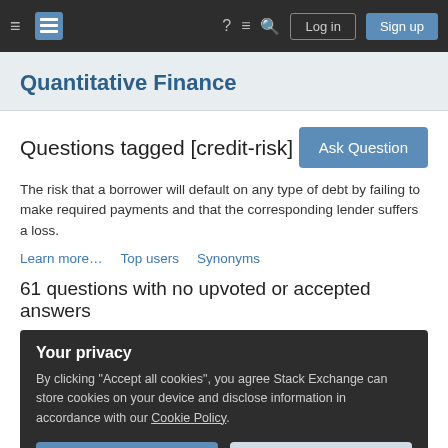Quantitative Finance — Stack Exchange navigation bar with Log in and Sign up buttons
Quantitative Finance
Questions tagged [credit-risk]
The risk that a borrower will default on any type of debt by failing to make required payments and that the corresponding lender suffers a loss.
Learn more…   Top users   Synonyms
61 questions with no upvoted or accepted answers
Your privacy
By clicking "Accept all cookies", you agree Stack Exchange can store cookies on your device and disclose information in accordance with our Cookie Policy.
Accept all cookies   Customize settings
Say bank A buys a credit portfolio "B" (e.g. corporate loans or retail mortgage, ...)